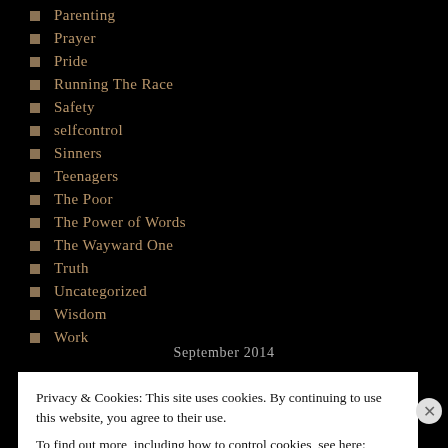Parenting
Prayer
Pride
Running The Race
Safety
selfcontrol
Sinners
Teenagers
The Poor
The Power of Words
The Wayward One
Truth
Uncategorized
Wisdom
Work
September 2014
Privacy & Cookies: This site uses cookies. By continuing to use this website, you agree to their use. To find out more, including how to control cookies, see here: Cookie Policy
Close and accept